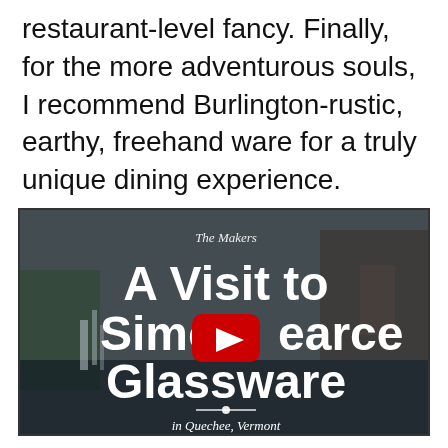restaurant-level fancy. Finally, for the more adventurous souls, I recommend Burlington-rustic, earthy, freehand ware for a truly unique dining experience.
[Figure (screenshot): YouTube video thumbnail showing 'A Visit to Simon Pearce Glassware in Quechee, Vermont' with a waterfall and mill building in the background, featuring a red YouTube play button in the center.]